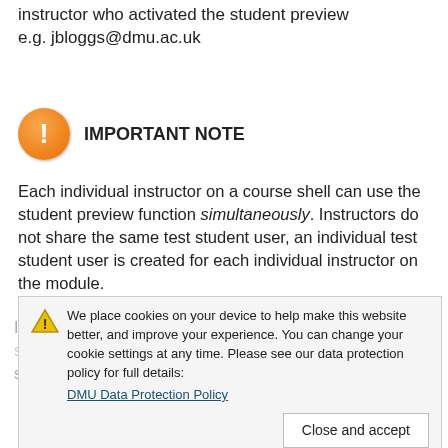instructor who activated the student preview e.g. jbloggs@dmu.ac.uk
IMPORTANT NOTE
Each individual instructor on a course shell can use the student preview function simultaneously. Instructors do not share the same test student user, an individual test student user is created for each individual instructor on the module.
[Figure (screenshot): Cookie consent overlay banner with warning triangle icon, text about cookies, a link to DMU Data Protection Policy, and a Close and accept button]
Instructors MUST NOT manually change the name of the student preview user, as this could interfere with students' use of the module shell.